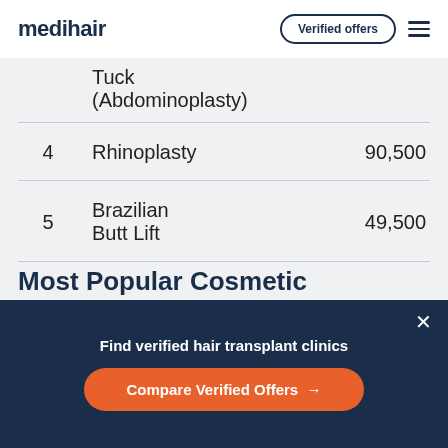medihair | Verified offers (button) | menu
| # | Procedure |  |
| --- | --- | --- |
|  | Tuck (Abdominoplasty) |  |
| 4 | Rhinoplasty | 90,500 |
| 5 | Brazilian Butt Lift | 49,500 |
Most Popular Cosmetic
Find verified hair transplant clinics
Compare Verified Offers →